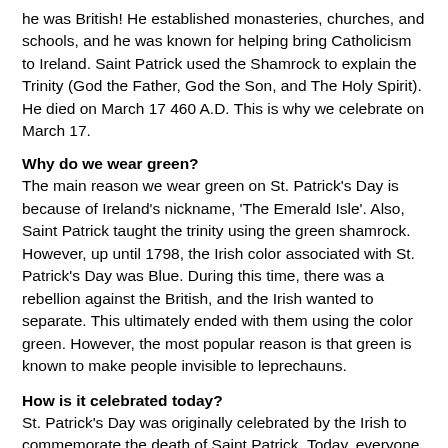he was British! He established monasteries, churches, and schools, and he was known for helping bring Catholicism to Ireland. Saint Patrick used the Shamrock to explain the Trinity (God the Father, God the Son, and The Holy Spirit). He died on March 17 460 A.D. This is why we celebrate on March 17.
Why do we wear green?
The main reason we wear green on St. Patrick's Day is because of Ireland's nickname, 'The Emerald Isle'. Also, Saint Patrick taught the trinity using the green shamrock. However, up until 1798, the Irish color associated with St. Patrick's Day was Blue. During this time, there was a rebellion against the British, and the Irish wanted to separate. This ultimately ended with them using the color green. However, the most popular reason is that green is known to make people invisible to leprechauns.
How is it celebrated today?
St. Patrick's Day was originally celebrated by the Irish to commemorate the death of Saint Patrick. Today, everyone